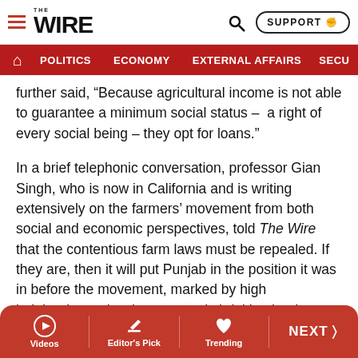THE WIRE — SUPPORT
POLITICS  ECONOMY  EXTERNAL AFFAIRS  SECU...
further said, “Because agricultural income is not able to guarantee a minimum social status –  a right of every social being – they opt for loans.”
In a brief telephonic conversation, professor Gian Singh, who is now in California and is writing extensively on the farmers’ movement from both social and economic perspectives, told The Wire that the contentious farm laws must be repealed. If they are, then it will put Punjab in the position it was in before the movement, marked by high indebtedness, low income, and shrinking land holdings. But the professor also said that this struggle has the potential to overhaul many past systems as well, if it continues to
Videos   Editor's Pick   Trending   NEXT >